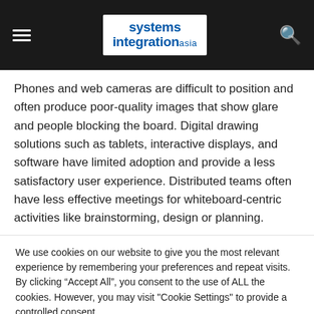systems integration asia
Phones and web cameras are difficult to position and often produce poor-quality images that show glare and people blocking the board. Digital drawing solutions such as tablets, interactive displays, and software have limited adoption and provide a less satisfactory user experience. Distributed teams often have less effective meetings for whiteboard-centric activities like brainstorming, design or planning.
We use cookies on our website to give you the most relevant experience by remembering your preferences and repeat visits. By clicking “Accept All”, you consent to the use of ALL the cookies. However, you may visit "Cookie Settings" to provide a controlled consent.